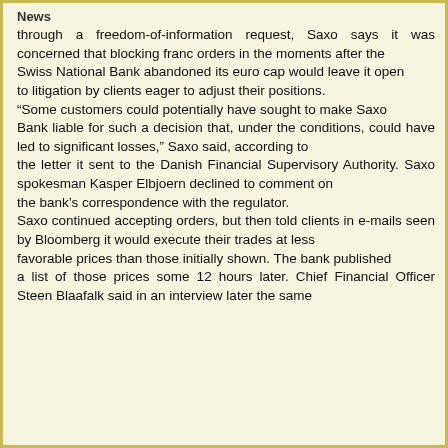News
through a freedom-of-information request, Saxo says it was concerned that blocking franc orders in the moments after the Swiss National Bank abandoned its euro cap would leave it open to litigation by clients eager to adjust their positions. “Some customers could potentially have sought to make Saxo Bank liable for such a decision that, under the conditions, could have led to significant losses,” Saxo said, according to the letter it sent to the Danish Financial Supervisory Authority. Saxo spokesman Kasper Elbjoern declined to comment on the bank’s correspondence with the regulator. Saxo continued accepting orders, but then told clients in e-mails seen by Bloomberg it would execute their trades at less favorable prices than those initially shown. The bank published a list of those prices some 12 hours later. Chief Financial Officer Steen Blaafalk said in an interview later the same